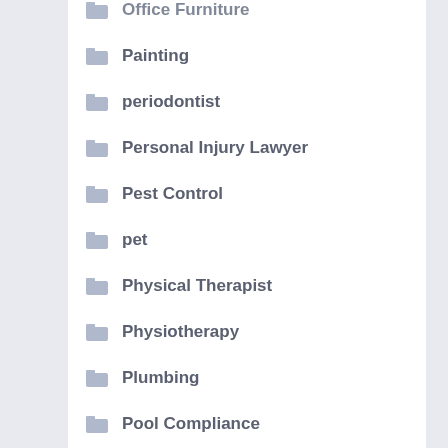Office Furniture
Painting
periodontist
Personal Injury Lawyer
Pest Control
pet
Physical Therapist
Physiotherapy
Plumbing
Pool Compliance
Pressure washing
Professional Grade basketball Hoop
Real Estate